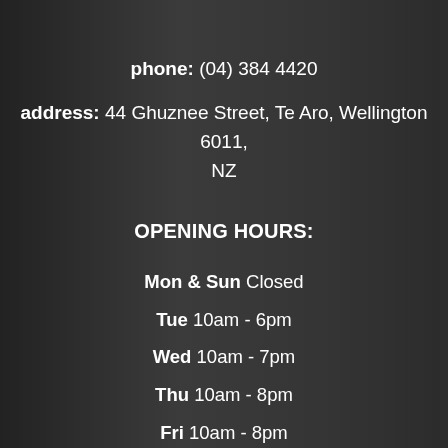phone: (04) 384 4420
address: 44 Ghuznee Street, Te Aro, Wellington 6011, NZ
OPENING HOURS:
Mon & Sun Closed
Tue 10am - 6pm
Wed 10am - 7pm
Thu 10am - 8pm
Fri 10am - 8pm
Sat 10am - 5pm